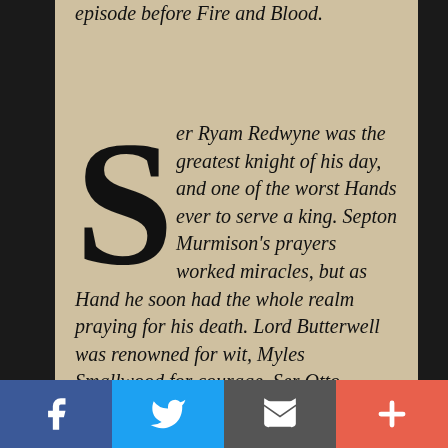episode before Fire and Blood.
Ser Ryam Redwyne was the greatest knight of his day, and one of the worst Hands ever to serve a king. Septon Murmison's prayers worked miracles, but as Hand he soon had the whole realm praying for his death. Lord Butterwell was renowned for wit, Myles Smallwood for courage, Ser Otto Hightower for learning, yet they failed as Hands, every one. As for birth, the dragonkings oft chose Hands from amongst their own blood, with results
[Figure (other): Social media share bar with Facebook, Twitter, Email, and Plus buttons]